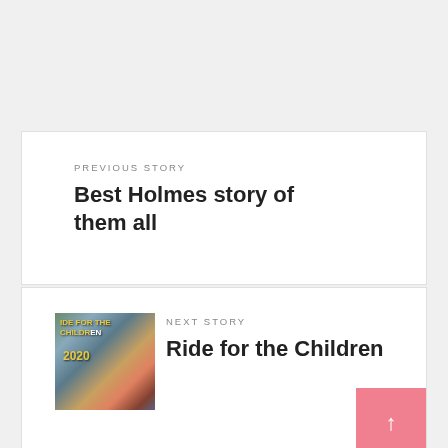PREVIOUS STORY
Best Holmes story of them all
[Figure (photo): Thumbnail image of a person wearing a red helmet on a bicycle, with text 'RIDE FOR THE CHILDREN 2020' overlay]
NEXT STORY
Ride for the Children